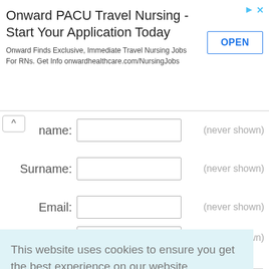[Figure (screenshot): Advertisement banner for Onward PACU Travel Nursing with title, subtitle text, and OPEN button]
Onward PACU Travel Nursing - Start Your Application Today
Onward Finds Exclusive, Immediate Travel Nursing Jobs For RNs. Get Info onwardhealthcare.com/NursingJobs
name: (never shown)
Surname: (never shown)
Email: (never shown)
Nickname: (shown)
This website uses cookies to ensure you get the best experience on our website. Cookie Policy
Got it!